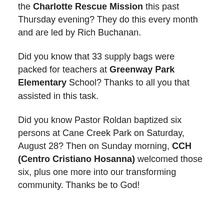the Charlotte Rescue Mission this past Thursday evening? They do this every month and are led by Rich Buchanan.
Did you know that 33 supply bags were packed for teachers at Greenway Park Elementary School? Thanks to all you that assisted in this task.
Did you know Pastor Roldan baptized six persons at Cane Creek Park on Saturday, August 28? Then on Sunday morning, CCH (Centro Cristiano Hosanna) welcomed those six, plus one more into our transforming community. Thanks be to God!